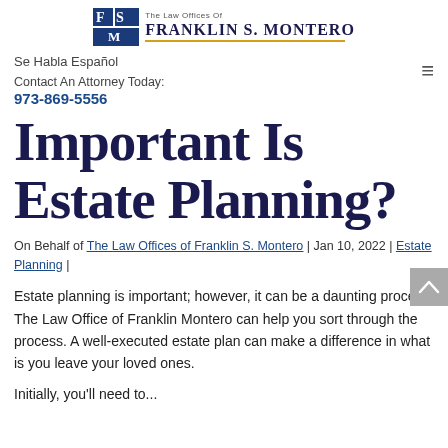[Figure (logo): The Law Offices of Franklin S. Montero logo with blue and gold FSM icon and serif text]
Se Habla Español
Contact An Attorney Today:
973-869-5556
Important Is Estate Planning?
On Behalf of The Law Offices of Franklin S. Montero | Jan 10, 2022 | Estate Planning |
Estate planning is important; however, it can be a daunting process. The Law Office of Franklin Montero can help you sort through the process. A well-executed estate plan can make a difference in what is you leave your loved ones.
Initially, you'll need to ...